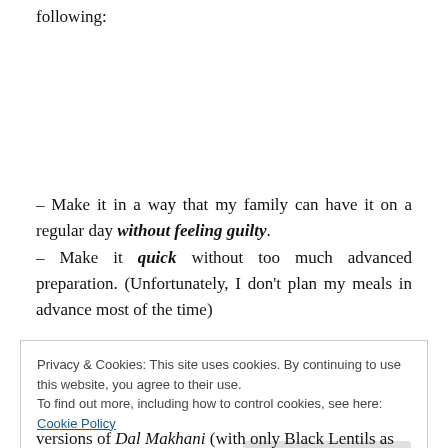following:
– Make it in a way that my family can have it on a regular day without feeling guilty.
– Make it quick without too much advanced preparation. (Unfortunately, I don't plan my meals in advance most of the time)
Privacy & Cookies: This site uses cookies. By continuing to use this website, you agree to their use.
To find out more, including how to control cookies, see here: Cookie Policy
versions of Dal Makhani (with only Black Lentils as